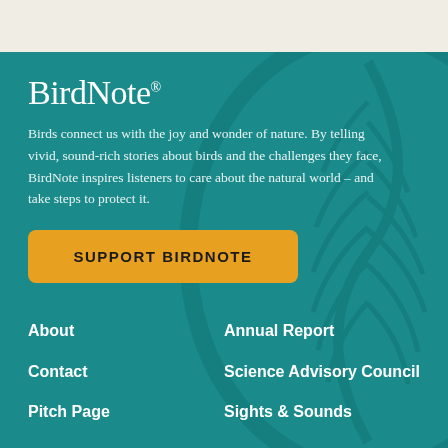BirdNote®
Birds connect us with the joy and wonder of nature. By telling vivid, sound-rich stories about birds and the challenges they face, BirdNote inspires listeners to care about the natural world – and take steps to protect it.
SUPPORT BIRDNOTE
About
Annual Report
Contact
Science Advisory Council
Pitch Page
Sights & Sounds